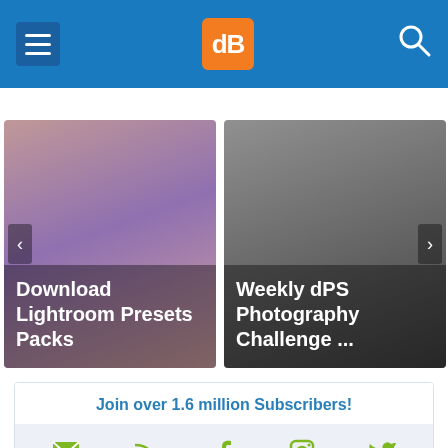dPS navigation header with hamburger menu, dPS logo, and search icon
[Figure (screenshot): Card showing 'Download Lightroom Presets Packs' with couple photo background]
[Figure (screenshot): Card showing 'Weekly dPS Photography Challenge ...' with dark background]
Join over 1.6 million Subscribers!
[Figure (infographic): Social media icons row: email, RSS, Facebook, Instagram, Twitter in green/olive color]
I need help with